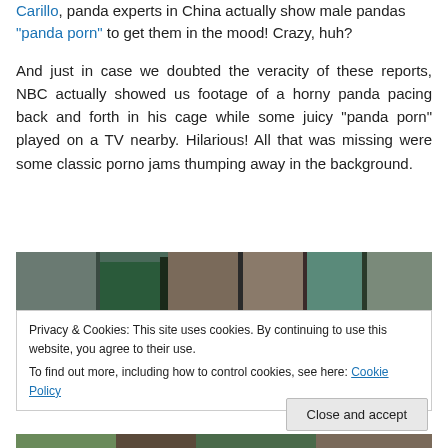Carillo, panda experts in China actually show male pandas "panda porn" to get them in the mood! Crazy, huh?
And just in case we doubted the veracity of these reports, NBC actually showed us footage of a horny panda pacing back and forth in his cage while some juicy “panda porn” played on a TV nearby. Hilarious! All that was missing were some classic porno jams thumping away in the background.
[Figure (photo): Partial image showing what appears to be books or shelves in the background, cropped at top]
Privacy & Cookies: This site uses cookies. By continuing to use this website, you agree to their use.
To find out more, including how to control cookies, see here: Cookie Policy
[Figure (photo): Bottom portion of an image, partially visible at the bottom of the page]